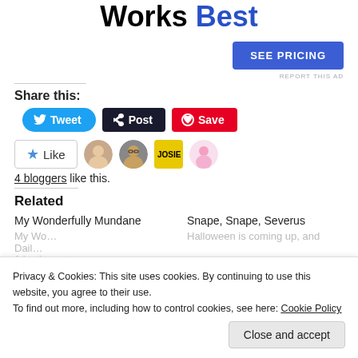Works Best
[Figure (screenshot): SEE PRICING button (blue rectangle)]
REPORT THIS AD
Share this:
[Figure (screenshot): Social sharing buttons: Tweet (blue), Post (dark), Save (red/Pinterest)]
[Figure (screenshot): Like button with star and 4 blogger avatar icons]
4 bloggers like this.
Related
My Wonderfully Mundane
Snape, Snape, Severus
Privacy & Cookies: This site uses cookies. By continuing to use this website, you agree to their use. To find out more, including how to control cookies, see here: Cookie Policy